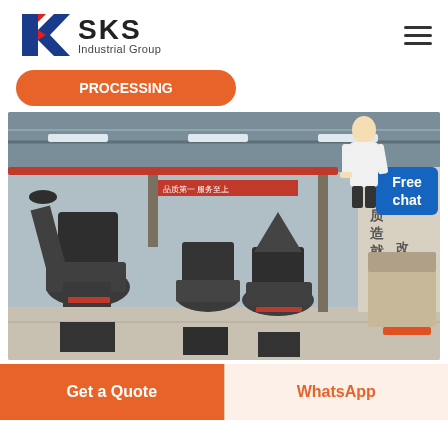[Figure (logo): SKS Industrial Group logo with red and blue K letter mark and bold SKS text]
[Figure (photo): Factory floor showing large industrial grinding/milling machines in a warehouse with Chinese text on the wall and a woman in white suit overlay]
Free chat
Get a Quote
WhatsApp